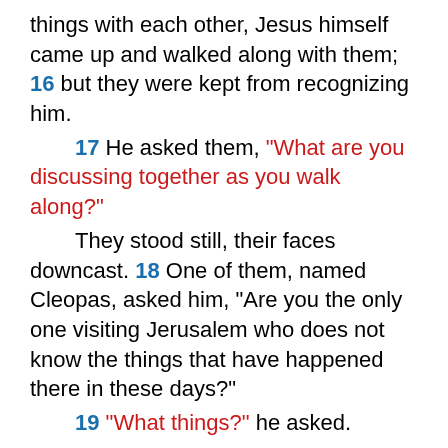things with each other, Jesus himself came up and walked along with them; 16 but they were kept from recognizing him. 17 He asked them, "What are you discussing together as you walk along?" They stood still, their faces downcast. 18 One of them, named Cleopas, asked him, "Are you the only one visiting Jerusalem who does not know the things that have happened there in these days?" 19 "What things?" he asked. "About Jesus of Nazareth," they replied. "He was a prophet, powerful in word and deed before God and all the people. 20 The chief priests and our rulers handed him over to be sentenced to death, and they crucified him; 21 but we had hoped that he was the one who was going to redeem Israel. And what is more, it is the third day since all this took place. 22 In addition, some of our women amazed us. They went to the tomb early this morning